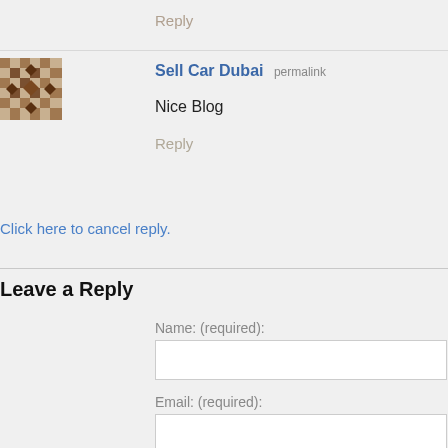Reply
[Figure (other): User avatar — decorative mosaic/geometric pattern in brown and white]
Sell Car Dubai permalink
Nice Blog
Reply
Click here to cancel reply.
Leave a Reply
Name: (required):
Email: (required):
Website: